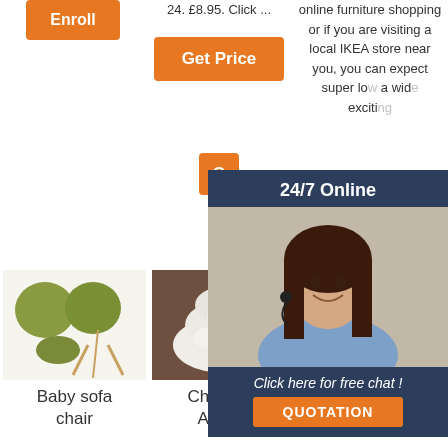[Figure (screenshot): Orange 'Enrol' button at top left]
24. £8.95. Click ...
online furniture shopping or if you are visiting a local IKEA store near you, you can expect super lo... a wid... exciti...
[Figure (screenshot): Orange 'Get Price' button]
[Figure (screenshot): Orange 'G...' button (partially obscured)]
[Figure (photo): 24/7 Online chat overlay with woman wearing headset, dark blue background, italic text 'Click here for free chat !' and orange QUOTATION button]
[Figure (photo): Baby sofa chair product image - green fluffy cushions and chair]
Baby sofa chair
[Figure (photo): Childrens Animal product image - white fluffy rug]
Childrens Animal
[Figure (photo): Amazon.com dog bed product image - white fluffy rug]
Amazon.com: dog bed